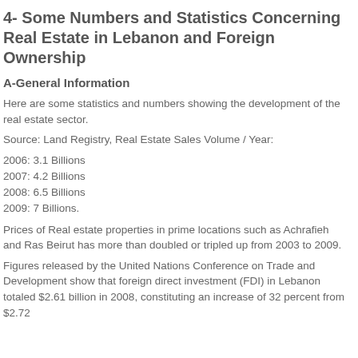4- Some Numbers and Statistics Concerning Real Estate in Lebanon and Foreign Ownership
A-General Information
Here are some statistics and numbers showing the development of the real estate sector.
Source: Land Registry, Real Estate Sales Volume / Year:
2006: 3.1 Billions
2007: 4.2 Billions
2008: 6.5 Billions
2009: 7 Billions.
Prices of Real estate properties in prime locations such as Achrafieh and Ras Beirut has more than doubled or tripled up from 2003 to 2009.
Figures released by the United Nations Conference on Trade and Development show that foreign direct investment (FDI) in Lebanon totaled $2.61 billion in 2008, constituting an increase of 32 percent from $2.72...